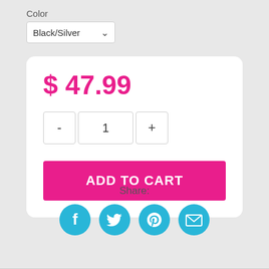Color
Black/Silver
$ 47.99
- 1 +
ADD TO CART
Share:
[Figure (infographic): Four circular social share icons: Facebook (f), Twitter (bird), Pinterest (P), Email (envelope), all in cyan/teal blue color]